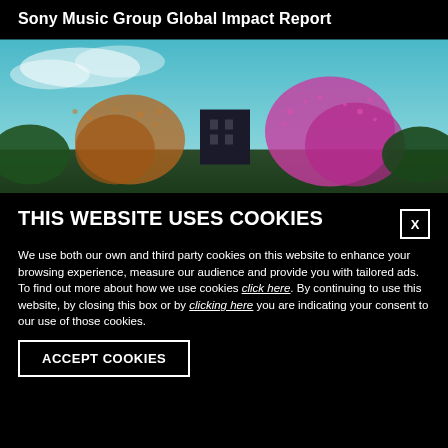Sony Music Group Global Impact Report
[Figure (photo): Outdoor scenic photo showing colorful autumn/spring trees with pink and orange foliage against a teal/blue sky, with a dark building visible in the background]
THIS WEBSITE USES COOKIES
We use both our own and third party cookies on this website to enhance your browsing experience, measure our audience and provide you with tailored ads. To find out more about how we use cookies click here. By continuing to use this website, by closing this box or by clicking here you are indicating your consent to our use of those cookies.
ACCEPT COOKIES